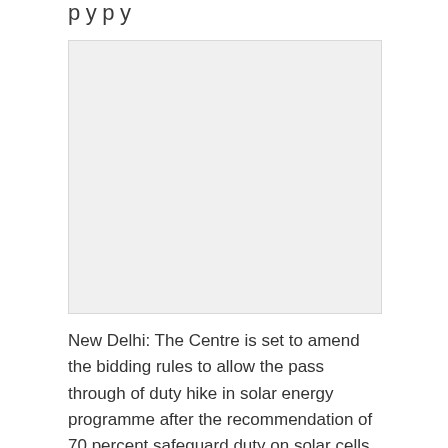p y p y
[Figure (photo): Light gray rectangular placeholder image area]
New Delhi: The Centre is set to amend the bidding rules to allow the pass through of duty hike in solar energy programme after the recommendation of 70 percent safeguard duty on solar cells.